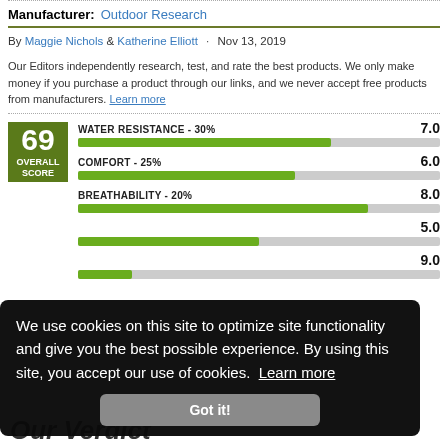Manufacturer: Outdoor Research
By Maggie Nichols & Katherine Elliott · Nov 13, 2019
Our Editors independently research, test, and rate the best products. We only make money if you purchase a product through our links, and we never accept free products from manufacturers. Learn more
[Figure (infographic): Overall score box showing 69 with rating bars for Water Resistance 30% scoring 7.0, Comfort 25% scoring 6.0, Breathability 20% scoring 8.0, and partially visible rows scoring 5.0 and 9.0]
We use cookies on this site to optimize site functionality and give you the best possible experience. By using this site, you accept our use of cookies. Learn more
Our Verdict